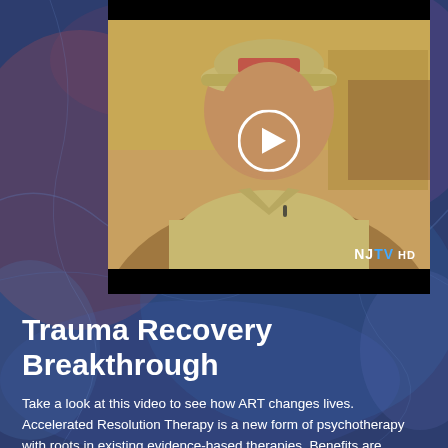[Figure (screenshot): Video thumbnail showing a man wearing a khaki cap with 'WAR' text, in a khaki polo shirt, with a white circular play button overlay. NJTV HD logo in bottom right corner. Black bars at top and bottom.]
Trauma Recovery Breakthrough
Take a look at this video to see how ART changes lives. Accelerated Resolution Therapy is a new form of psychotherapy with roots in existing evidence-based therapies. Benefits are achieved much more rapidly than with traditional therapies (usually within 1-5 sessions). Clients with